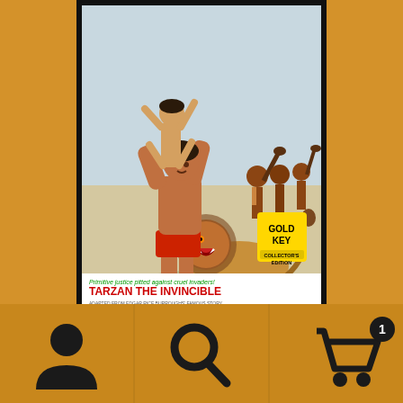[Figure (illustration): Book cover of Tarzan the Invincible (Gold Key Collector's Edition). Shows Tarzan lifting a person overhead while fighting a lion and primitive warriors with clubs. Text on cover reads: 'Primitive justice pitted against cruel invaders! TARZAN THE INVINCIBLE ADAPTED FROM EDGAR RICE BURROUGHS' FAMOUS STORY'. Gold Key logo in yellow box on right.]
Tarzan of the Apes – #182 – 02/69 – 6.0
$9.00
[Figure (infographic): Bottom navigation bar with three icons: user/person icon on left, search/magnifying glass icon in center, and shopping cart with badge showing '1' on right. Navigation divided by vertical lines.]